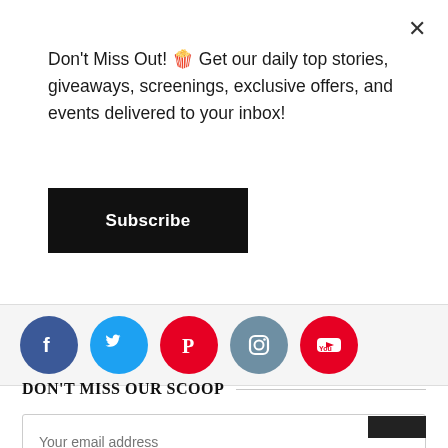Don't Miss Out! 🍿 Get our daily top stories, giveaways, screenings, exclusive offers, and events delivered to your inbox!
Subscribe
[Figure (illustration): Row of five social media icons: Facebook (blue circle), Twitter (light blue circle), Pinterest (red circle), Instagram (grey-blue circle), YouTube (red circle)]
DON'T MISS OUR SCOOP
Your email address
SUBSCRIBE